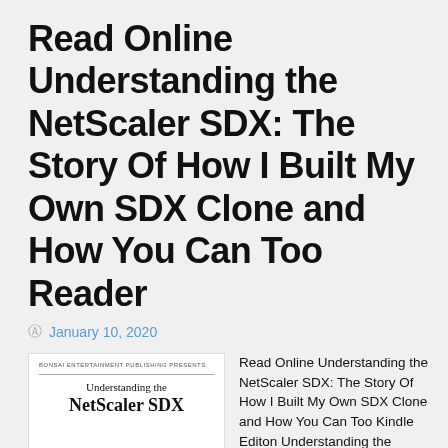Read Online Understanding the NetScaler SDX: The Story Of How I Built My Own SDX Clone and How You Can Too Reader
January 10, 2020
[Figure (illustration): Book cover for 'Understanding the NetScaler SDX' published by Bonsai Entertainment Publishing, showing stacked server hardware rendered in blue and black tones, with publisher label at top, subtitle 'Understanding the' and bold title 'NetScaler SDX']
Read Online Understanding the NetScaler SDX: The Story Of How I Built My Own SDX Clone and How You Can Too Kindle Editon Understanding the NetScaler SDX: The